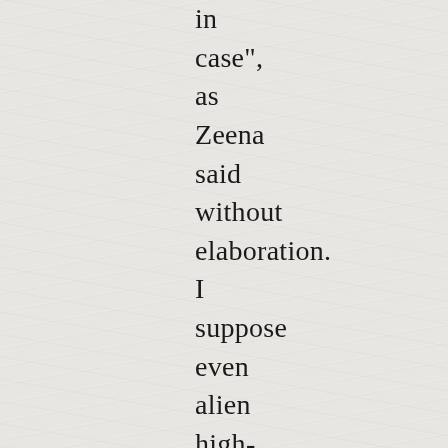in case", as Zeena said without elaboration. I suppose even alien high-tech devices can break down. We would use this car